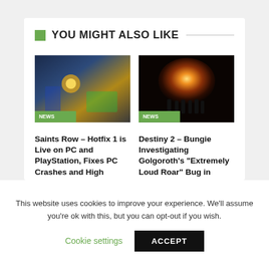YOU MIGHT ALSO LIKE
[Figure (photo): Screenshot from Saints Row game showing action combat scene with blue/gold color tones, with NEWS badge overlay]
Saints Row – Hotfix 1 is Live on PC and PlayStation, Fixes PC Crashes and High Camera...
[Figure (photo): Screenshot from Destiny 2 showing silhouettes of characters against a glowing orange light in a tunnel, with NEWS badge overlay]
Destiny 2 – Bungie Investigating Golgoroth's “Extremely Loud Roar” Bug in King’s Fall...
This website uses cookies to improve your experience. We'll assume you're ok with this, but you can opt-out if you wish.
Cookie settings
ACCEPT